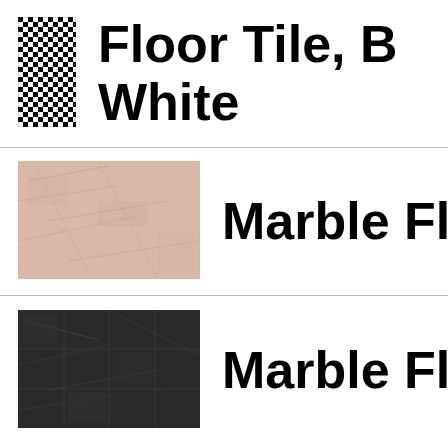[Figure (illustration): Checkerboard black and white tile thumbnail]
Floor Tile, B… White
[Figure (photo): Marble floor tile thumbnail, pinkish/beige tone]
Marble Floo…
[Figure (photo): Marble floor tile thumbnail, dark grey/black tone]
Marble Floo…